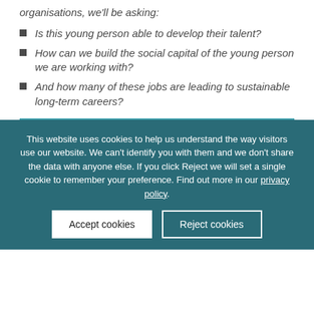organisations, we'll be asking:
Is this young person able to develop their talent?
How can we build the social capital of the young person we are working with?
And how many of these jobs are leading to sustainable long-term careers?
This website uses cookies to help us understand the way visitors use our website. We can't identify you with them and we don't share the data with anyone else. If you click Reject we will set a single cookie to remember your preference. Find out more in our privacy policy.